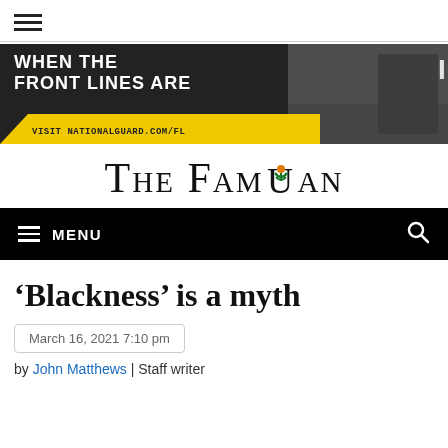hamburger menu icon
[Figure (photo): National Guard advertisement banner: 'WHEN THE FRONT LINES ARE' with soldier photo and yellow stripe, VISIT NATIONALGUARD.COM/FL]
THE FAMUAN
MENU (navigation bar)
'Blackness' is a myth
March 16, 2021 7:10 pm
by John Matthews | Staff writer